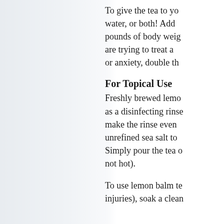To give the tea to yo water, or both! Add pounds of body weig are trying to treat a or anxiety, double th
For Topical Use
Freshly brewed lemo as a disinfecting rinse make the rinse even unrefined sea salt to Simply pour the tea o not hot).
To use lemon balm te injuries), soak a clean